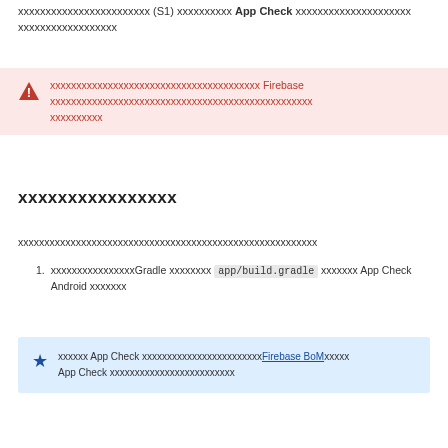xxxxxxxxxxxxxxxxxxxxxxxx (S1) xxxxxxxxxx App Check xxxxxxxxxxxxxxxxxxxxx xxxxxxxxxxxxxxxxxx
xxxxxxxxxxxxxxxxxxxxxxxxxxxxxxxxxxxxxxxx Firebase xxxxxxxxxxxxxxxxxxxxxxxxxxxxxxxxxxxxxxxxxxxxxxxxxx xxxxxxxxxx
xxxxxxxxxxxxxxxx
xxxxxxxxxxxxxxxxxxxxxxxxxxxxxxxxxxxxxxxxxxxxxxxxxxxxxxxxx
xxxxxxxxxxxxxxxxGradle xxxxxxxx app/build.gradle xxxxxxx App Check Android xxxxxxx
xxxxxx App Check xxxxxxxxxxxxxxxxxxxxxxFirebase BoMxxxxxxx App Check xxxxxxxxxxxxxxxxxxxxxxxxx